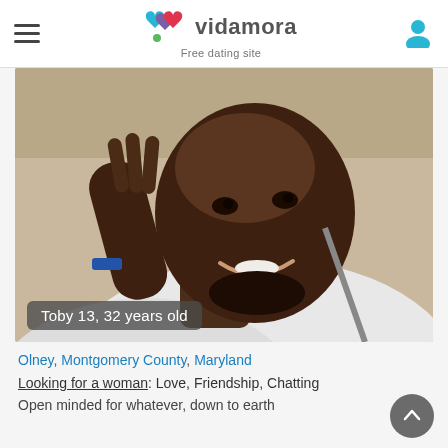vidamora — Free dating site
[Figure (photo): Profile photo of Toby13, a 32-year-old man smiling, raising his hand toward the camera, wearing a white shirt, inside a car. Overlay text reads: Toby 13, 32 years old]
Olney, Montgomery County, Maryland
Looking for a woman: Love, Friendship, Chatting
Open minded for whatever, down to earth